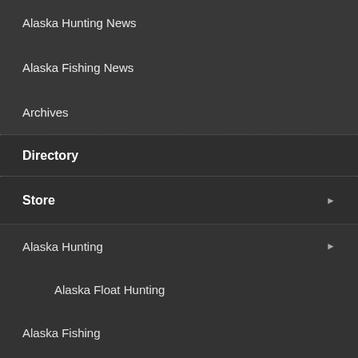Alaska Hunting News
Alaska Fishing News
Archives
Directory
Store
Alaska Hunting
Alaska Float Hunting
Alaska Fishing
Alaska Boating